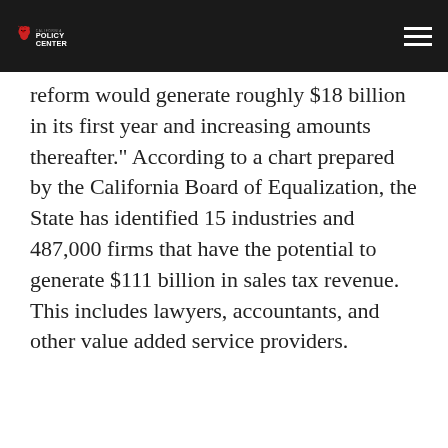California Policy Center
reform would generate roughly $18 billion in its first year and increasing amounts thereafter.” According to a chart prepared by the California Board of Equalization, the State has identified 15 industries and 487,000 firms that have the potential to generate $111 billion in sales tax revenue. This includes lawyers, accountants, and other value added service providers.